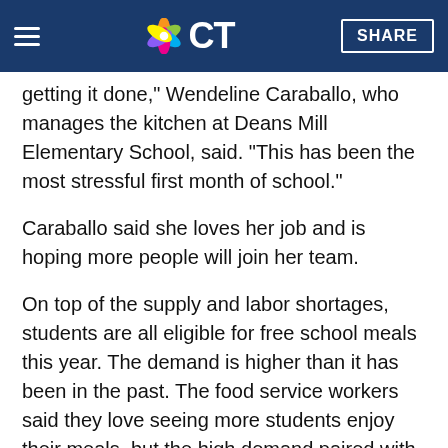NBC CT — SHARE
getting it done," Wendeline Caraballo, who manages the kitchen at Deans Mill Elementary School, said. "This has been the most stressful first month of school."
Caraballo said she loves her job and is hoping more people will join her team.
On top of the supply and labor shortages, students are all eligible for free school meals this year. The demand is higher than it has been in the past. The food service workers said they love seeing more students enjoy their meals, but the high demand paired with the shortages makes for a difficult situation.
"It's food shortage, labor shortage and we are serving a lot more students," said Fowler. "Hopefully they are understanding that we are still putting out great food, it just